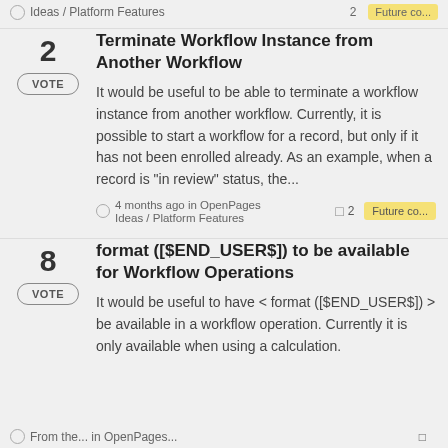Ideas / Platform Features   2   Future co...
Terminate Workflow Instance from Another Workflow
It would be useful to be able to terminate a workflow instance from another workflow. Currently, it is possible to start a workflow for a record, but only if it has not been enrolled already. As an example, when a record is "in review" status, the...
4 months ago in OpenPages Ideas / Platform Features   2   Future co...
format ([$END_USER$]) to be available for Workflow Operations
It would be useful to have < format ([$END_USER$]) > be available in a workflow operation. Currently it is only available when using a calculation.
From the ... in OpenPages ...